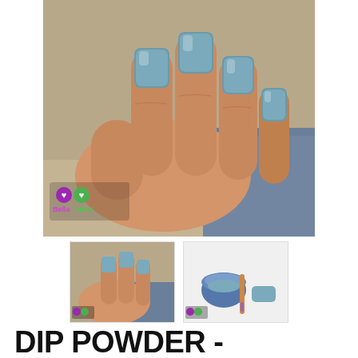[Figure (photo): Close-up photo of a hand with square blue-grey dip powder nails resting on a sandy surface. BellaHoot logo (purple and green owl icons with text) visible in lower left corner.]
[Figure (photo): Thumbnail 1: Smaller version of hand with blue-grey nails on sandy surface, with small BellaHoot logo icon.]
[Figure (photo): Thumbnail 2: Blue dip powder in a small container with a nail brush/stick on a white surface, with small BellaHoot logo icon.]
DIP POWDER - LAKE BLUE - LIMITED